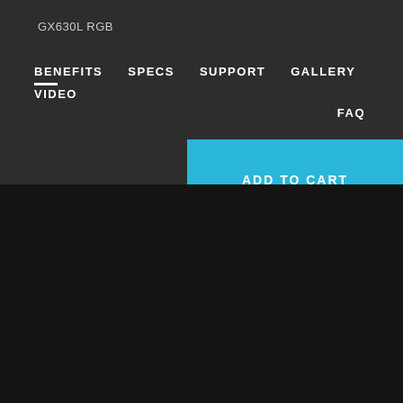GX630L RGB
BENEFITS
SPECS
SUPPORT
GALLERY
VIDEO
FAQ
ADD TO CART